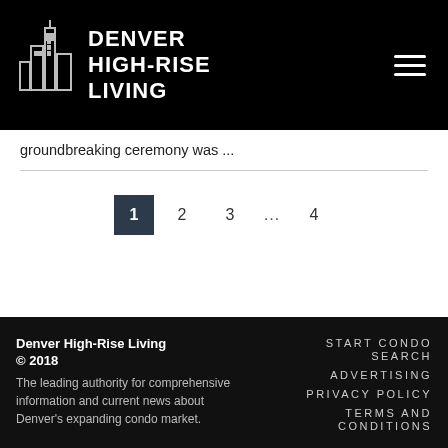Denver High-Rise Living
groundbreaking ceremony was ...
1 2 3 ... 4
Denver High-Rise Living © 2018
The leading authority for comprehensive information and current news about Denver's expanding condo market.
START CONDO SEARCH
ADVERTISING
PRIVACY POLICY
TERMS AND CONDITIONS